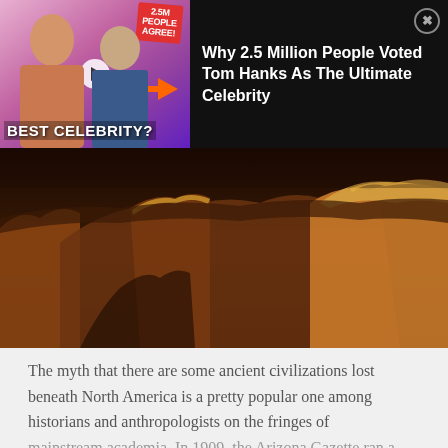[Figure (screenshot): Advertisement overlay showing two people (young woman and older man) with text '2.5M PEOPLE AGREE!' and 'BEST CELEBRITY?' on a colorful background thumbnail]
Why 2.5 Million People Voted Tom Hanks As The Ultimate Celebrity
[Figure (photo): Aerial photograph of the Grand Canyon showing layered red rock formations, mesas, and canyon landscape at golden hour]
The myth that there are some ancient civilizations lost beneath North America is a pretty popular one among historians and anthropologists on the fringes of mainstream academia. In 1909, the Arizona Gazette ran a story that seemed to confirm all their wildest dreams. Better yet, the news came with two reputable names and